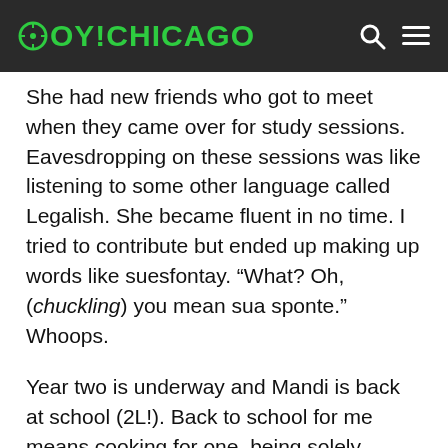OY!CHICAGO
She had new friends who got to meet when they came over for study sessions. Eavesdropping on these sessions was like listening to some other language called Legalish. She became fluent in no time. I tried to contribute but ended up making up words like suesfontay. “What? Oh, (chuckling) you mean sua sponte.” Whoops.
Year two is underway and Mandi is back at school (2L!). Back to school for me means cooking for one, being solely responsible for my own entertainment, cleaning the apartment (or having a dirty apartment), grocery shopping, doing lots of yoga videos, watching too much TV and moping about the house. Back to school